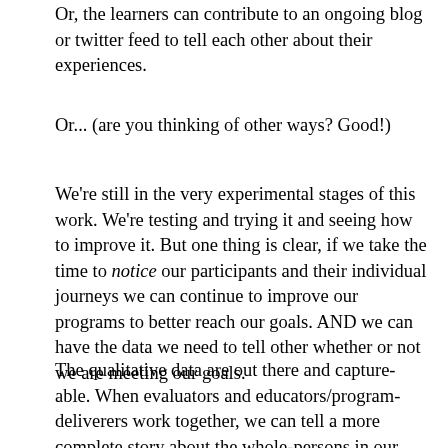Or, the learners can contribute to an ongoing blog or twitter feed to tell each other about their experiences.
Or... (are you thinking of other ways? Good!)
We're still in the very experimental stages of this work. We're testing and trying it and seeing how to improve it. But one thing is clear, if we take the time to notice our participants and their individual journeys we can continue to improve our programs to better reach our goals. AND we can have the data we need to tell other whether or not we are meeting our goals.
The qualitative data are out there and capture-able. When evaluators and educators/program-deliverers work together, we can tell a more complete story about the whole-persons in our programs, about who they are